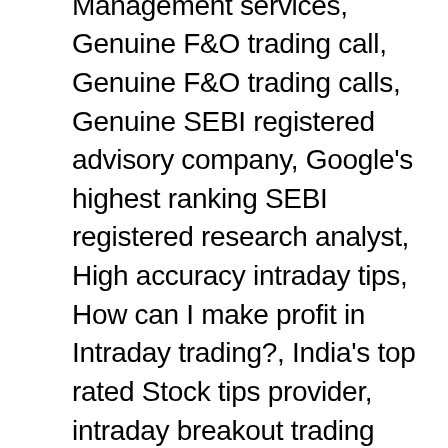tips, Genuine Account Management services, Genuine F&O trading call, Genuine F&O trading calls, Genuine SEBI registered advisory company, Google's highest ranking SEBI registered research analyst, High accuracy intraday tips, How can I make profit in Intraday trading?, India's top rated Stock tips provider, intraday breakout trading strategy, Intraday calls in stock future, Intraday calls in stock market, Intraday stock advisory services, Intraday sureshot tips, Intraday Sureshot tips provider, Intraday trading in share market, Intraday trading tips & Strategies, Intraday trading tips and strategies, Intraday trading tips in stock market, Investment adviser, Jackpot intraday tips, Jackpot Options tips, Most accurate intraday tips provider, Most accurate intraday trading tips, Most Accurate stock tips provider, Most accurate stock tips provider in India, Most accurate trading tips, Most reliable intraday tips provider, Most successful advisory company in stock market, Most successful intraday strategy, Most successful stock advisors in india, Nifty future intraday calls, Nifty future tips provider, Nifty intraday trading tips, Nifty trading tips, No. 1 SEBI registered tips provider, Portfolio Management Services, Profit making intraday calls, Reliable Portfolio